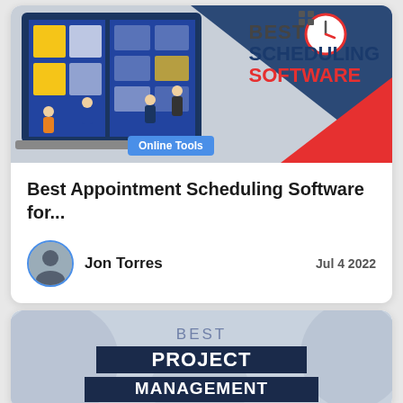[Figure (illustration): Banner image for best scheduling software article showing a laptop with a kanban-style board, people icons, a clock icon, and text: BEST SCHEDULING SOFTWARE. Blue triangle in top right, red triangle shape bottom right.]
Online Tools
Best Appointment Scheduling Software for...
Jon Torres
Jul 4 2022
[Figure (illustration): Second card banner showing BEST PROJECT MANAGEMENT text on a muted blue-gray background with decorative circular shapes.]